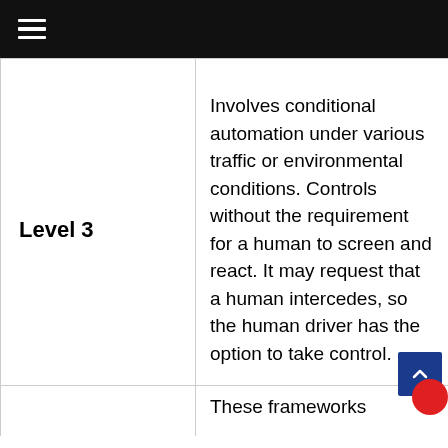≡
| Level 3 | Involves conditional automation under various traffic or environmental conditions. Controls without the requirement for a human to screen and react. It may request that a human intercedes, so the human driver has the option to take control. |
|  | These frameworks |